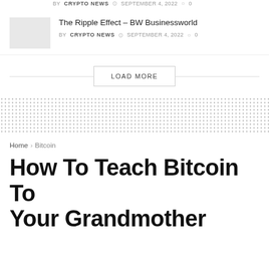BY CRYPTO NEWS  SEPTEMBER 4, 2022  0
The Ripple Effect – BW Businessworld
BY CRYPTO NEWS  SEPTEMBER 4, 2022  0
LOAD MORE
[Figure (other): Dotted pattern band separator]
Home > Bitcoin
How To Teach Bitcoin To Your Grandmother